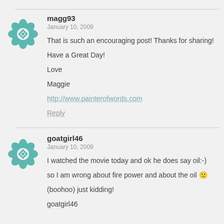[Figure (illustration): Teal geometric/floral avatar icon for user magg93]
magg93
January 10, 2009

That is such an encouraging post! Thanks for sharing!

Have a Great Day!

Love

Maggie

http://www.painterofwords.com

Reply
[Figure (illustration): Teal geometric/floral avatar icon for user goatgirl46]
goatgirl46
January 10, 2009

I watched the movie today and ok he does say oil:-)

so I am wrong about fire power and about the oil

(boohoo) just kidding!

goatgirl46